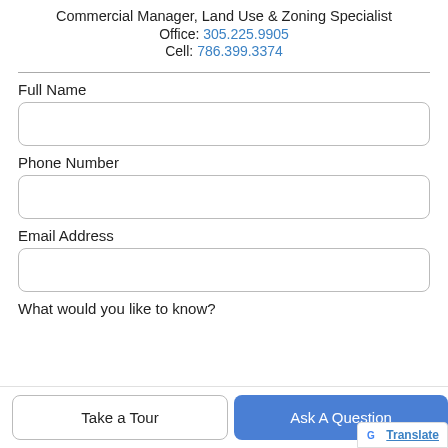Commercial Manager, Land Use & Zoning Specialist
Office: 305.225.9905
Cell: 786.399.3374
Full Name
Phone Number
Email Address
What would you like to know?
Take a Tour
Ask A Question
Translate